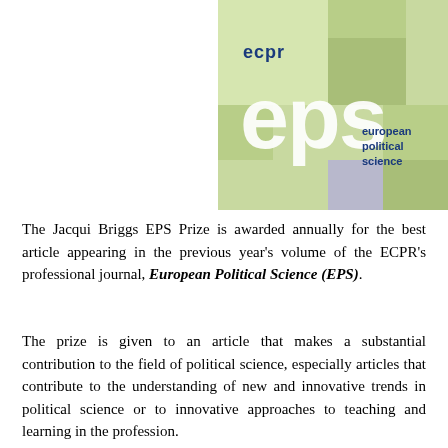[Figure (logo): ECPR European Political Science (EPS) journal logo — green gradient mosaic background with large white 'eps' letters, 'ecpr' text in blue above, 'european political science' text in blue on the right, and a small dark blue square in the top-right corner.]
The Jacqui Briggs EPS Prize is awarded annually for the best article appearing in the previous year's volume of the ECPR's professional journal, European Political Science (EPS).
The prize is given to an article that makes a substantial contribution to the field of political science, especially articles that contribute to the understanding of new and innovative trends in political science or to innovative approaches to teaching and learning in the profession.